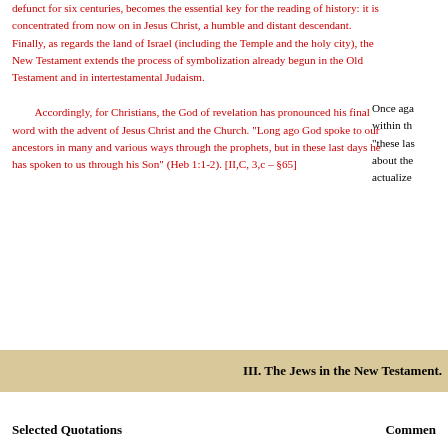defunct for six centuries, becomes the essential key for the reading of history: it is concentrated from now on in Jesus Christ, a humble and distant descendant. Finally, as regards the land of Israel (including the Temple and the holy city), the New Testament extends the process of symbolization already begun in the Old Testament and in intertestamental Judaism.

Accordingly, for Christians, the God of revelation has pronounced his final word with the advent of Jesus Christ and the Church. "Long ago God spoke to our ancestors in many and various ways through the prophets, but in these last days he has spoken to us through his Son" (Heb 1:1-2). [II,C, 3,c – §65]
Once again within the "these last about the actualized
III. The Jews in the New Testament.
Selected Quotations
Comment